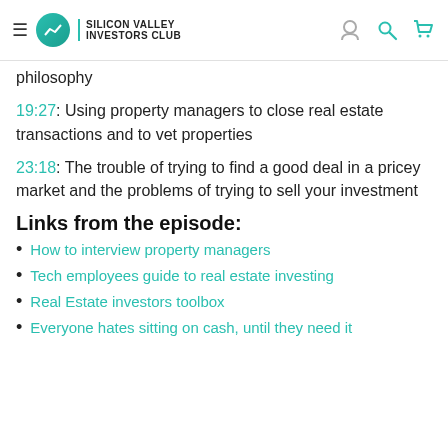Silicon Valley Investors Club
philosophy
19:27: Using property managers to close real estate transactions and to vet properties
23:18: The trouble of trying to find a good deal in a pricey market and the problems of trying to sell your investment
Links from the episode:
How to interview property managers
Tech employees guide to real estate investing
Real Estate investors toolbox
Everyone hates sitting on cash, until they need it